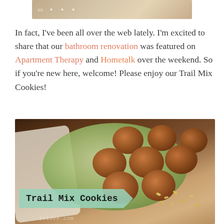[Figure (photo): Cropped top portion of a blog header image showing a tan/beige leather or fabric texture with partial text visible at top]
In fact, I've been all over the web lately.  I'm excited to share that our bathroom renovation was featured on Apartment Therapy and Hometalk over the weekend.  So if you're new here, welcome!  Please enjoy our Trail Mix Cookies!
[Figure (photo): Photo of Trail Mix Cookies piled on a sage green plate, with sunflower seeds scattered around, on a white cloth background. A mint green banner with text 'Trail Mix Cookies' overlays the bottom-left of the image. Watermark text 'ivadee.com' visible at bottom.]